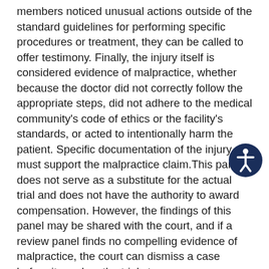members noticed unusual actions outside of the standard guidelines for performing specific procedures or treatment, they can be called to offer testimony. Finally, the injury itself is considered evidence of malpractice, whether because the doctor did not correctly follow the appropriate steps, did not adhere to the medical community's code of ethics or the facility's standards, or acted to intentionally harm the patient. Specific documentation of the injury must support the malpractice claim.This panel does not serve as a substitute for the actual trial and does not have the authority to award compensation. However, the findings of this panel may be shared with the court, and if a review panel finds no compelling evidence of malpractice, the court can dismiss a case before it reaches the trial stage.